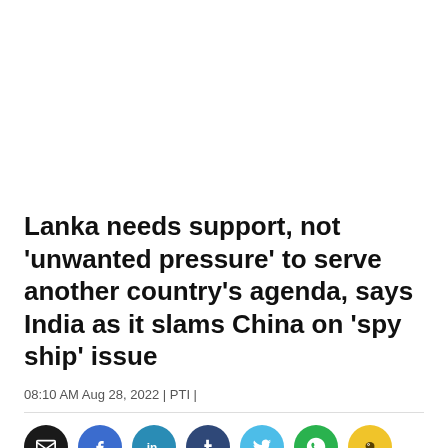Lanka needs support, not 'unwanted pressure' to serve another country's agenda, says India as it slams China on 'spy ship' issue
08:10 AM Aug 28, 2022 | PTI |
[Figure (other): Social media sharing icons row: email (black), Facebook (blue), LinkedIn (teal), Tumblr (dark blue), Twitter (light blue), WhatsApp (green), Koo (yellow)]